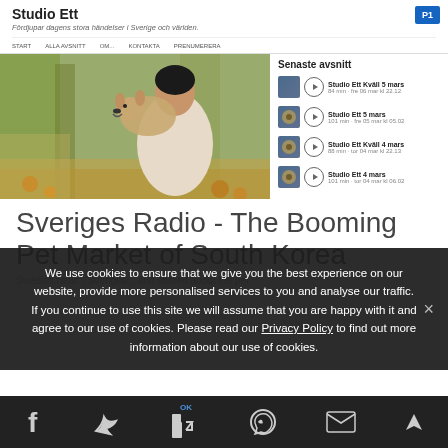Studio Ett
Fördjupar dagens stora händelser i Sverige och världen.
START  ALLA AVSNITT  OM...  KONTAKT  PRENUMERERA
[Figure (photo): Young woman holding a corgi dog outdoors among autumn trees]
Senaste avsnitt
Studio Ett Kväll 5 mars — 84 min — fre 06 mar kl 22.12
Studio Ett 5 mars — 101 min — fre 05 mar kl 05.02
Studio Ett Kväll 4 mars — 88 min — tor 04 mar kl 22.13
Studio Ett 4 mars — 101 min — tor 04 mar kl 06.02
Sveriges Radio - The Booming Pet Market of South Korea
Swedish radio - Sveriges... and shared about the pet
We use cookies to ensure that we give you the best experience on our website, provide more personalised services to you and analyse our traffic. If you continue to use this site we will assume that you are happy with it and agree to our use of cookies. Please read our Privacy Policy to find out more information about our use of cookies.